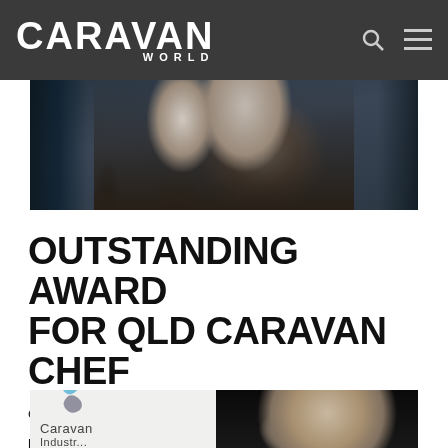CARAVAN WORLD
[Figure (photo): Two people standing at an awards ceremony in front of blue curtain backdrop, one holding an award]
OUTSTANDING AWARD FOR QLD CARAVAN CHEF
outstanding award for QLD caravan chief
READ MORE
[Figure (photo): Man smiling in front of Caravan Industry association banner/logo]